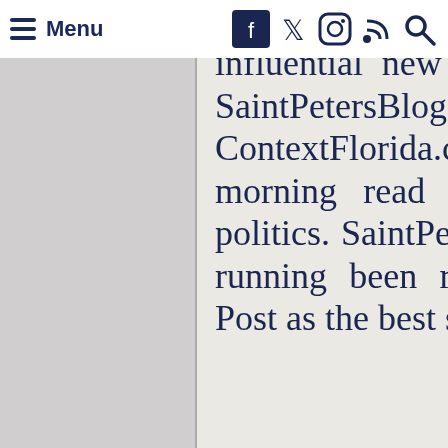Menu [hamburger icon] [Facebook] [Twitter] [Instagram] [RSS] [Search]
publisher of some of Florida's most influential new media websites, including SaintPetersBlog.com, FloridaPolitics.com, ContextFlorida.com, and Sunburn, the morning read of what's hot in Florida politics. SaintPetersBlog has for three years running been ranked by the Washington Post as the best state-based